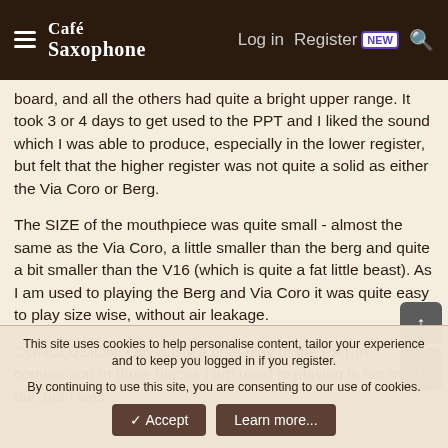Café Saxophone | Log in | Register | NEW | Search
board, and all the others had quite a bright upper range. It took 3 or 4 days to get used to the PPT and I liked the sound which I was able to produce, especially in the lower register, but felt that the higher register was not quite a solid as either the Via Coro or Berg.
The SIZE of the mouthpiece was quite small - almost the same as the Via Coro, a little smaller than the berg and quite a bit smaller than the V16 (which is quite a fat little beast). As I am used to playing the Berg and Via Coro it was quite easy to play size wise, without air leakage.
CONCLUSION: Obviously a brief play of the PPT in comparison to three pieces I am used to playing is not overly fair, but I was
This site uses cookies to help personalise content, tailor your experience and to keep you logged in if you register.
By continuing to use this site, you are consenting to our use of cookies.